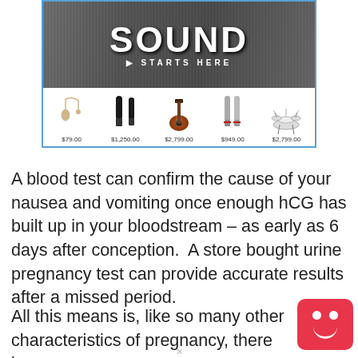[Figure (photo): Advertisement banner for a music/sound store showing 'SOUND STARTS HERE' with product images including a headset mic ($79.00), microphones ($1,250.00), guitar ($2,799.00), condenser mics ($949.00), and drum kit ($2,799.00)]
A blood test can confirm the cause of your nausea and vomiting once enough hCG has built up in your bloodstream – as early as 6 days after conception.  A store bought urine pregnancy test can provide accurate results after a missed period.
All this means is, like so many other characteristics of pregnancy, there is no